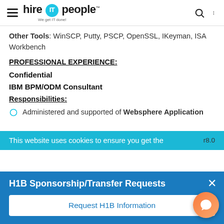hire IT people — We get IT done!
Other Tools: WinSCP, Putty, PSCP, OpenSSL, IKeyman, ISA Workbench
PROFESSIONAL EXPERIENCE:
Confidential
IBM BPM/ODM Consultant
Responsibilities:
Administered and supported of Websphere Application Server8.0
This website uses cookies to ensure you get the
H1B Sponsorship/Transfer Requests
Request H1B Information